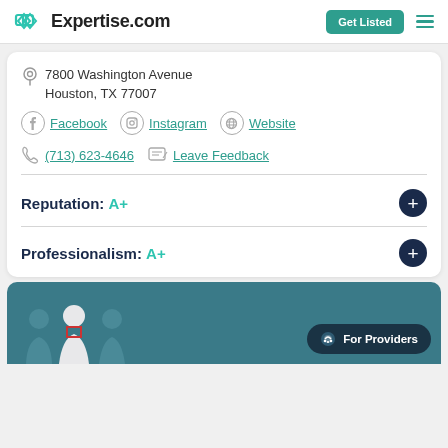Expertise.com | Get Listed
7800 Washington Avenue
Houston, TX 77007
Facebook | Instagram | Website
(713) 623-4646 | Leave Feedback
Reputation: A+
Professionalism: A+
For Providers